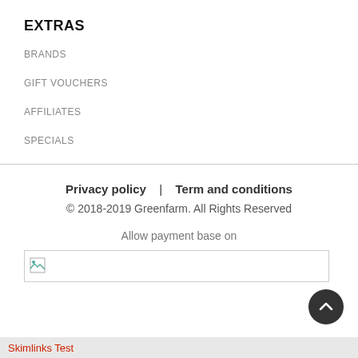EXTRAS
BRANDS
GIFT VOUCHERS
AFFILIATES
SPECIALS
Privacy policy  |  Term and conditions
© 2018-2019 Greenfarm. All Rights Reserved
Allow payment base on
[Figure (other): Broken/missing payment method image inside a bordered rectangle]
Skimlinks Test